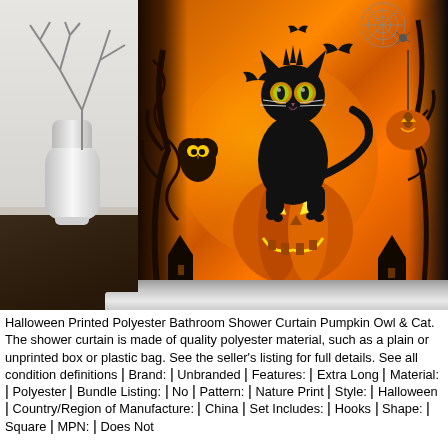[Figure (photo): Halloween printed polyester shower curtain displayed in a bathroom/room setting. The curtain features an orange background with a black cat sitting on a jack-o-lantern pumpkin, with an owl, bats, spider web, hanging pumpkin lantern, and spooky trees. Left side shows a white room with a white vase containing bare branches on a dark wood floor.]
Halloween Printed Polyester Bathroom Shower Curtain Pumpkin Owl & Cat. The shower curtain is made of quality polyester material, such as a plain or unprinted box or plastic bag. See the seller's listing for full details. See all condition definitions ǀ Brand: ǀ Unbranded ǀ Features: ǀ Extra Long ǀ Material: ǀ Polyester ǀ Bundle Listing: ǀ No ǀ Pattern: ǀ Nature Print ǀ Style: ǀ Halloween ǀ Country/Region of Manufacture: ǀ China ǀ Set Includes: ǀ Hooks ǀ Shape: ǀ Square ǀ MPN: ǀ Does Not